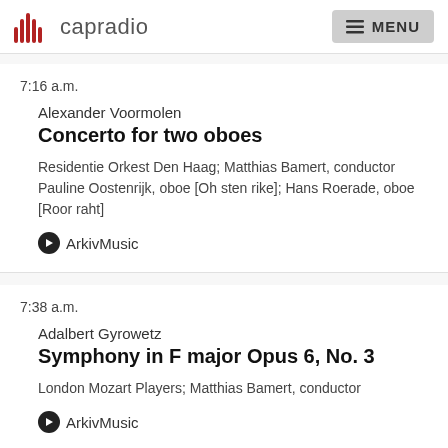capradio  MENU
7:16 a.m.
Alexander Voormolen
Concerto for two oboes
Residentie Orkest Den Haag; Matthias Bamert, conductor Pauline Oostenrijk, oboe [Oh sten rike]; Hans Roerade, oboe [Roor raht]
ArkivMusic
7:38 a.m.
Adalbert Gyrowetz
Symphony in F major Opus 6, No. 3
London Mozart Players; Matthias Bamert, conductor
ArkivMusic